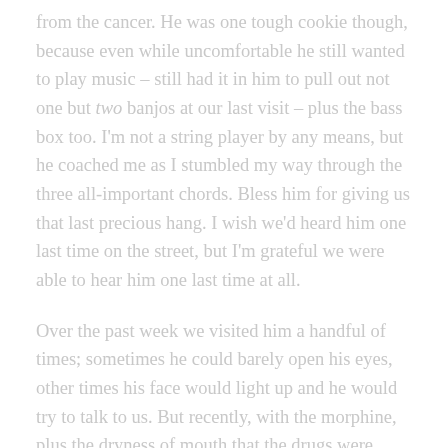from the cancer. He was one tough cookie though, because even while uncomfortable he still wanted to play music – still had it in him to pull out not one but two banjos at our last visit – plus the bass box too. I'm not a string player by any means, but he coached me as I stumbled my way through the three all-important chords. Bless him for giving us that last precious hang. I wish we'd heard him one last time on the street, but I'm grateful we were able to hear him one last time at all.
Over the past week we visited him a handful of times; sometimes he could barely open his eyes, other times his face would light up and he would try to talk to us. But recently, with the morphine, plus the dryness of mouth that the drugs were giving him, it was even more difficult to understand him. And hey – it was hard enough to understand him to begin with on account of that thick Jamaican accent of his! On one visit I had a moment alone